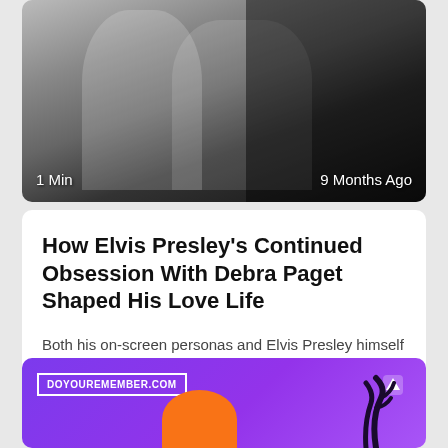[Figure (photo): Black and white photograph of two people, partially visible, with overlay text '1 Min' on the bottom left and '9 Months Ago' on the bottom right]
How Elvis Presley's Continued Obsession With Debra Paget Shaped His Love Life
Both his on-screen personas and Elvis Presley himself famously courted now-famous names in the industry, from tying the knot with Priscilla Beaulieu
[Figure (photo): Purple/violet background image with 'DOYOUREMEMBER.COM' label in white border, an orange figure at the bottom, and dark antler-like shapes on the right. An up-arrow icon appears in the top right.]